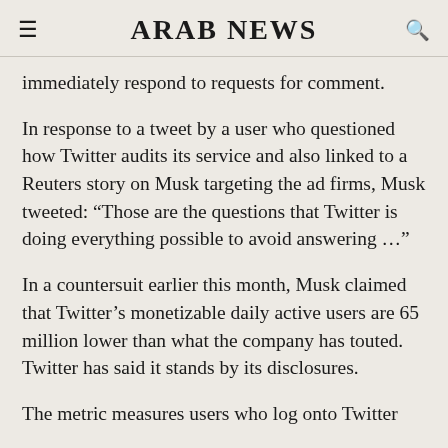ARAB NEWS
immediately respond to requests for comment.
In response to a tweet by a user who questioned how Twitter audits its service and also linked to a Reuters story on Musk targeting the ad firms, Musk tweeted: “Those are the questions that Twitter is doing everything possible to avoid answering …”
In a countersuit earlier this month, Musk claimed that Twitter’s monetizable daily active users are 65 million lower than what the company has touted. Twitter has said it stands by its disclosures.
The metric measures users who log onto Twitter